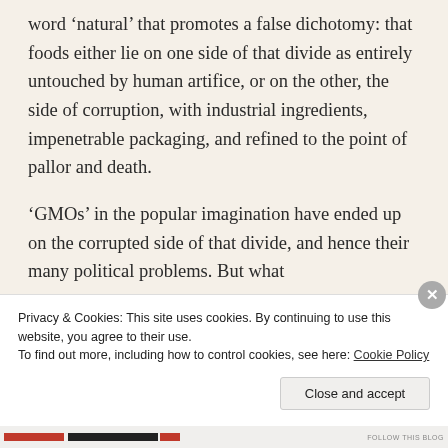word 'natural' that promotes a false dichotomy: that foods either lie on one side of that divide as entirely untouched by human artifice, or on the other, the side of corruption, with industrial ingredients, impenetrable packaging, and refined to the point of pallor and death.
'GMOs' in the popular imagination have ended up on the corrupted side of that divide, and hence their many political problems. But what
Privacy & Cookies: This site uses cookies. By continuing to use this website, you agree to their use.
To find out more, including how to control cookies, see here: Cookie Policy
Close and accept